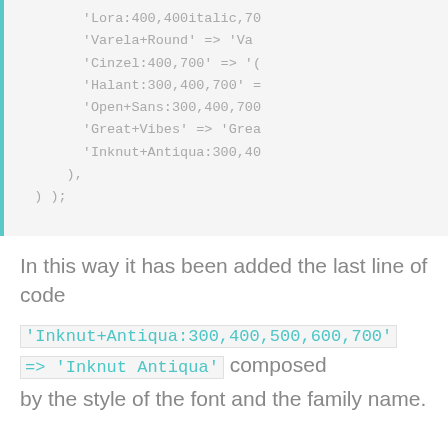'Lora:400,400italic,70
'Varela+Round' => 'Va
'Cinzel:400,700' => '(
'Halant:300,400,700' =
'Open+Sans:300,400,70(
'Great+Vibes' => 'Grea
'Inknut+Antiqua:300,4(
        ),
    ) );
In this way it has been added the last line of code 'Inknut+Antiqua:300,400,500,600,700' => 'Inknut Antiqua' composed by the style of the font and the family name.